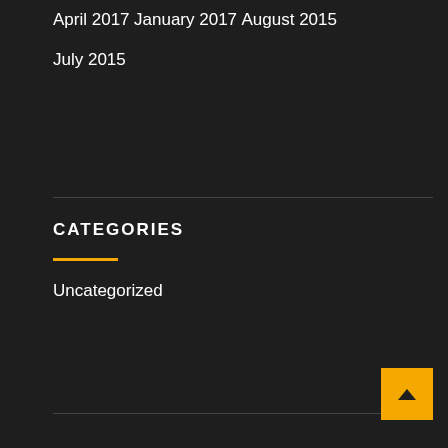April 2017
January 2017
August 2015
July 2015
CATEGORIES
Uncategorized